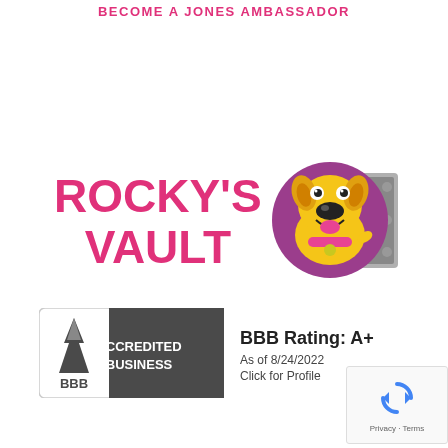BECOME A JONES AMBASSADOR
[Figure (logo): Rocky's Vault logo with pink text 'ROCKY'S VAULT' and a cartoon yellow dog inside a purple circle with a vault door]
[Figure (logo): BBB Accredited Business badge with dark gray background and white text, showing BBB Rating: A+ as of 8/24/2022]
[Figure (other): reCAPTCHA widget with blue recycling-style arrow icon and Privacy - Terms text]